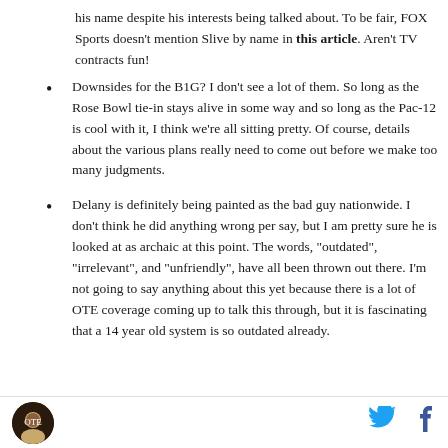his name despite his interests being talked about. To be fair, FOX Sports doesn't mention Slive by name in this article. Aren't TV contracts fun!
Downsides for the B1G? I don't see a lot of them. So long as the Rose Bowl tie-in stays alive in some way and so long as the Pac-12 is cool with it, I think we're all sitting pretty. Of course, details about the various plans really need to come out before we make too many judgments.
Delany is definitely being painted as the bad guy nationwide. I don't think he did anything wrong per say, but I am pretty sure he is looked at as archaic at this point. The words, "outdated", "irrelevant", and "unfriendly", have all been thrown out there. I'm not going to say anything about this yet because there is a lot of OTE coverage coming up to talk this through, but it is fascinating that a 14 year old system is so outdated already.
Logo and social share icons